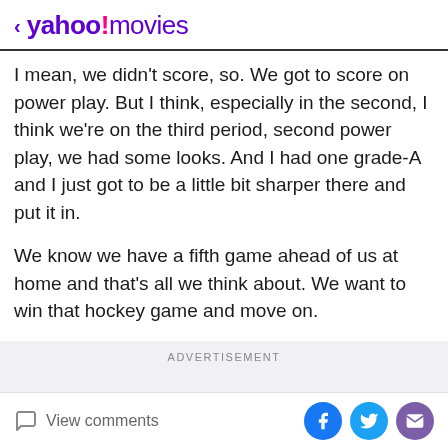< yahoo!movies
I mean, we didn't score, so. We got to score on power play. But I think, especially in the second, I think we're on the third period, second power play, we had some looks. And I had one grade-A and I just got to be a little bit sharper there and put it in.
We know we have a fifth game ahead of us at home and that's all we think about. We want to win that hockey game and move on.
ADVERTISEMENT
View comments